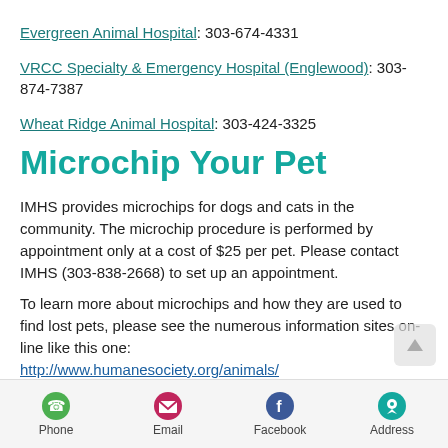Evergreen Animal Hospital: 303-674-4331
VRCC Specialty & Emergency Hospital (Englewood): 303-874-7387
Wheat Ridge Animal Hospital: 303-424-3325
Microchip Your Pet
IMHS provides microchips for dogs and cats in the community. The microchip procedure is performed by appointment only at a cost of $25 per pet. Please contact IMHS (303-838-2668) to set up an appointment.
To learn more about microchips and how they are used to find lost pets, please see the numerous information sites on-line like this one: http://www.humanesociety.org/animals/resources/tips/microchips.html
Phone  Email  Facebook  Address